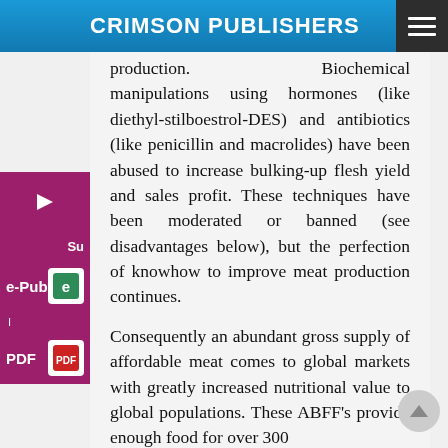CRIMSON PUBLISHERS
production. Biochemical manipulations using hormones (like diethyl-stilboestrol-DES) and antibiotics (like penicillin and macrolides) have been abused to increase bulking-up flesh yield and sales profit. These techniques have been moderated or banned (see disadvantages below), but the perfection of knowhow to improve meat production continues.
Consequently an abundant gross supply of affordable meat comes to global markets with greatly increased nutritional value to global populations. These ABFF's provide enough food for over 300